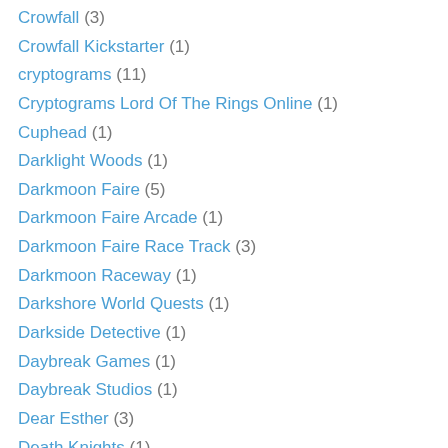Crowfall (3)
Crowfall Kickstarter (1)
cryptograms (11)
Cryptograms Lord Of The Rings Online (1)
Cuphead (1)
Darklight Woods (1)
Darkmoon Faire (5)
Darkmoon Faire Arcade (1)
Darkmoon Faire Race Track (3)
Darkmoon Raceway (1)
Darkshore World Quests (1)
Darkside Detective (1)
Daybreak Games (1)
Daybreak Studios (1)
Dear Esther (3)
Death Knights (1)
Decorating Homes In MMOs (1)
Demon Hunter (1)
Destruction Warlock Talents (1)
Destruction Warlocks (1)